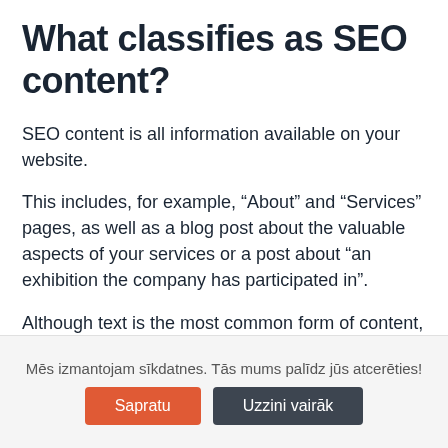What classifies as SEO content?
SEO content is all information available on your website.
This includes, for example, “About” and “Services” pages, as well as a blog post about the valuable aspects of your services or a post about “an exhibition the company has participated in”.
Although text is the most common form of content, an image, video, infographic or audio can also sometimes account for it.
The more colorful and impactful the content, the better will your results be. Search engines, like humans, prefer
Mēs izmantojam sīdatnes. Tās mums palīdz jūs atcerēties!
Sapratu
Uzzini vairāk